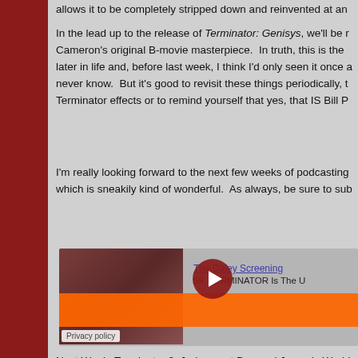allows it to be completely stripped down and reinvented at an...
In the lead up to the release of Terminator: Genisys, we'll be r... Cameron's original B-movie masterpiece. In truth, this is the ... later in life and, before last week, I think I'd only seen it once a... never know. But it's good to revisit these things periodically, t... Terminator effects or to remind yourself that yes, that IS Bill P...
I'm really looking forward to the next few weeks of podcasting... which is sneakily kind of wonderful. As always, be sure to sub...
[Figure (screenshot): Embedded podcast player showing 'The Daley Screening' with episode '59. TERMINATOR Is The U...' with play button, podcast thumbnail (dark red/brown image), orange progress bar, and Privacy policy badge.]
Next Week: Terminator 2: Judgement Day and Jurassic World...